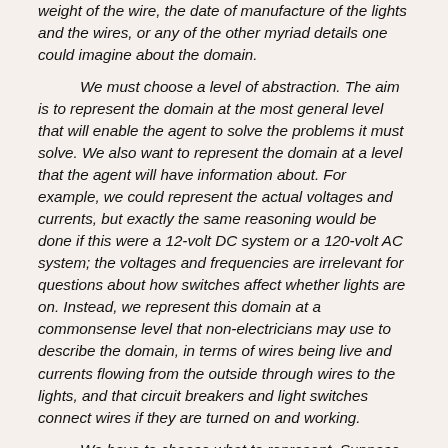weight of the wire, the date of manufacture of the lights and the wires, or any of the other myriad details one could imagine about the domain.
We must choose a level of abstraction. The aim is to represent the domain at the most general level that will enable the agent to solve the problems it must solve. We also want to represent the domain at a level that the agent will have information about. For example, we could represent the actual voltages and currents, but exactly the same reasoning would be done if this were a 12-volt DC system or a 120-volt AC system; the voltages and frequencies are irrelevant for questions about how switches affect whether lights are on. Instead, we represent this domain at a commonsense level that non-electricians may use to describe the domain, in terms of wires being live and currents flowing from the outside through wires to the lights, and that circuit breakers and light switches connect wires if they are turned on and working.
We have to choose what to represent. Suppose we want to represent propositions